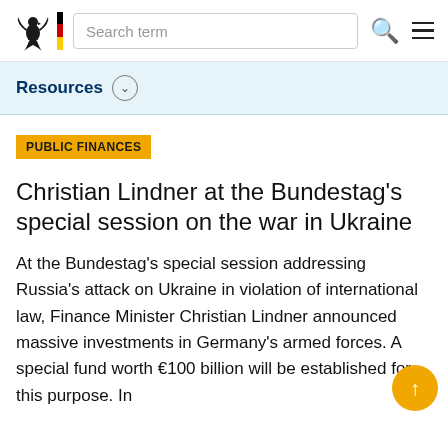Search term
Resources
PUBLIC FINANCES
Christian Lindner at the Bundestag's special session on the war in Ukraine
At the Bundestag's special session addressing Russia's attack on Ukraine in violation of international law, Finance Minister Christian Lindner announced massive investments in Germany's armed forces. A special fund worth €100 billion will be established for this purpose. In